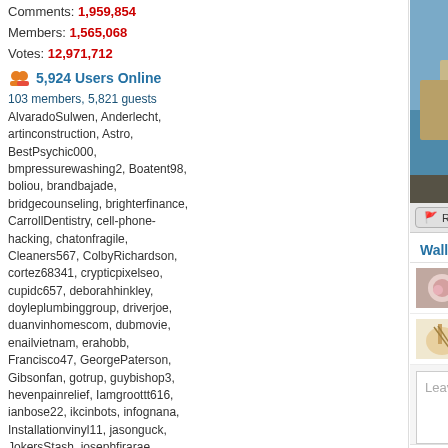Comments: 1,959,854
Members: 1,565,068
Votes: 12,971,712
5,924 Users Online
103 members, 5,821 guests
AlvaradoSulwen, Anderlecht, artinconstruction, Astro, BestPsychic000, bmpressurewashing2, Boatent98, boliou, brandbajade, bridgecounseling, brighterfinance, CarrollDentistry, cell-phone-hacking, chatonfragile, Cleaners567, ColbyRichardson, cortez68341, crypticpixelseo, cupidc657, deborahhinkley, doyleplumbinggroup, driverjoe, duanvinhomescom, dubmovie, enailvietnam, erahobb, Francisco47, GeorgePaterson, Gibsonfan, gotrup, guybishop3, hevenpainrelief, Iamgroottt616, ianbose22, ikcinbots, infognana, Installationvinyl11, jasonguck, JokersStash, josephfirarae, jun8888, KayaXu8, khungnhomkinhvietphon..., kinggohan, Lalina, Lamamake, leonbetappin, lertuiosq, lilla811, lirikmerch, maayash, macthanhvu, marquisbarkley, mayapatil281995, McKinneysTX, mikepaxson, misssshweta, mistydaydream1, mod.CG, modzoro, mumtazdental, now888today, pheesir777
[Figure (photo): Painting wallpaper showing a scenic cityscape with water, buildings, columns, and a mandolin/lute instrument]
Report This Wallpaper
Add To F
Wallpaper Groups
Paintings
31,786  408  6
Musical instruments
464  52  0
Leave a comment...
Wallpaper Comments (1)